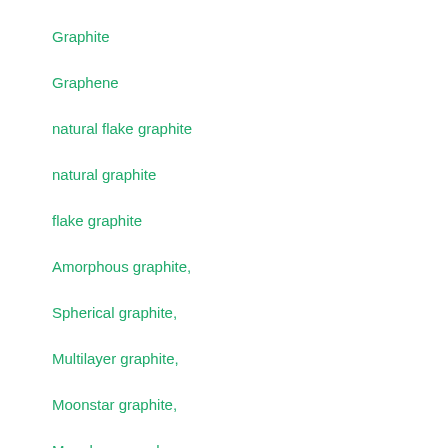Graphite
Graphene
natural flake graphite
natural graphite
flake graphite
Amorphous graphite,
Spherical graphite,
Multilayer graphite,
Moonstar graphite,
Monolayer graphene,
2-6 multilayer graphene,